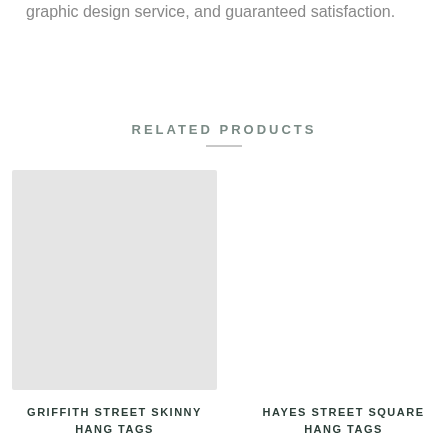graphic design service, and guaranteed satisfaction.
RELATED PRODUCTS
[Figure (photo): Gray placeholder image for Griffith Street Skinny Hang Tags product]
GRIFFITH STREET SKINNY HANG TAGS
[Figure (photo): Empty/blank placeholder area for Hayes Street Square Hang Tags product]
HAYES STREET SQUARE HANG TAGS